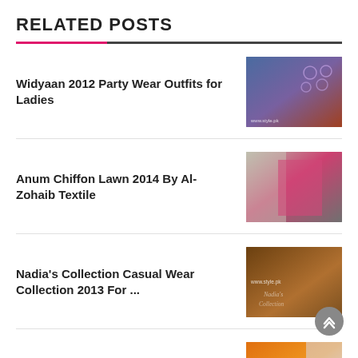RELATED POSTS
Widyaan 2012 Party Wear Outfits for Ladies
[Figure (photo): Photo of embroidered blue and brown ladies outfit]
Anum Chiffon Lawn 2014 By Al-Zohaib Textile
[Figure (photo): Photo of pink and grey outfit on mannequin]
Nadia's Collection Casual Wear Collection 2013 For ...
[Figure (photo): Photo of brown/tan casual wear outfit with www.style.pk watermark]
Ethnic Winter Collection 2012-2013 For Women
[Figure (photo): Photo of orange ethnic winter outfit]